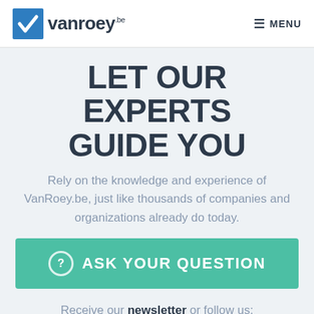vanroey.be MENU
LET OUR EXPERTS GUIDE YOU
Rely on the knowledge and experience of VanRoey.be, just like thousands of companies and organizations already do today.
ASK YOUR QUESTION
Receive our newsletter or follow us: